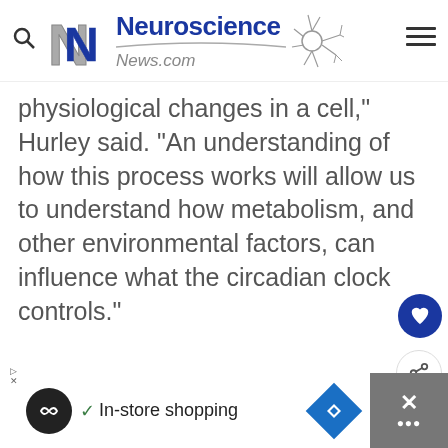[Figure (logo): Neuroscience News.com logo with stylized NN letters, neuron graphic, search icon and hamburger menu]
physiological changes in a cell,” Hurley said. “An understanding of how this process works will allow us to understand how metabolism, and other environmental factors, can influence what the circadian clock controls.”
[Figure (other): Advertisement banner with In-store shopping text, circular logo, navigation diamond icon, and close button]